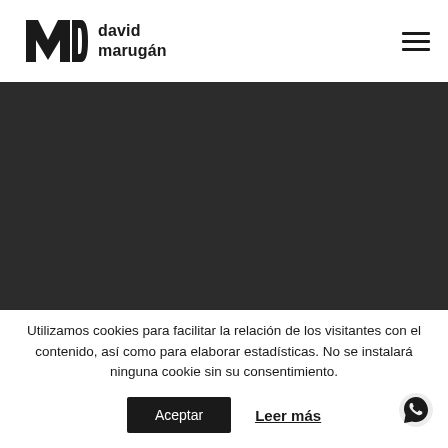[Figure (logo): David Marugán logo: stylized MD monogram in black with the text 'david marugán' to the right]
[Figure (photo): Dark grey/black hero image area, appears to be a website hero section with very dark background]
Utilizamos cookies para facilitar la relación de los visitantes con el contenido, así como para elaborar estadísticas. No se instalará ninguna cookie sin su consentimiento.
Aceptar
Leer más